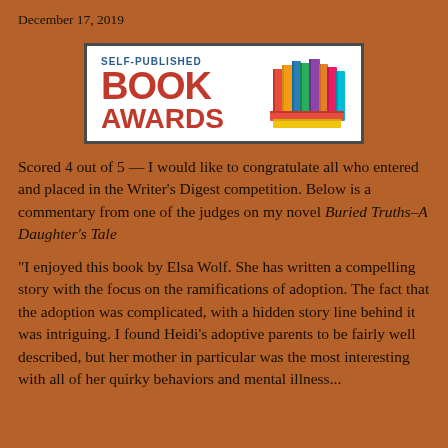December 17, 2019
[Figure (logo): Self-Published Book Awards logo with colorful stacked books illustration]
Scored 4 out of 5 — I would like to congratulate all who entered and placed in the Writer's Digest competition. Below is a commentary from one of the judges on my novel Buried Truths–A Daughter's Tale
“I enjoyed this book by Elsa Wolf. She has written a compelling story with the focus on the ramifications of adoption. The fact that the adoption was complicated, with a hidden story line behind it was intriguing. I found Heidi’s adoptive parents to be fairly well described, but her mother in particular was the most interesting with all of her quirky behaviors and mental illness...